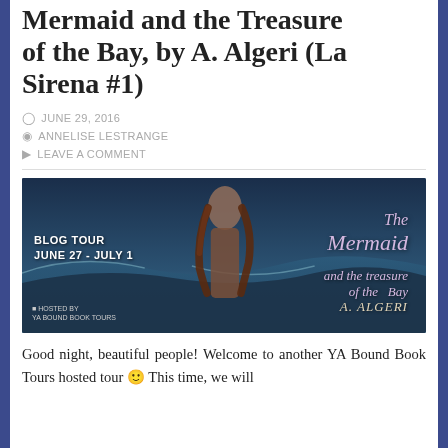Mermaid and the Treasure of the Bay, by A. Algeri (La Sirena #1)
JUNE 29, 2016
ANNELISE LESTRANGE
LEAVE A COMMENT
[Figure (photo): Blog tour banner for 'The Mermaid and the Treasure of the Bay' by A. Algeri. Shows a young woman with long brown hair against a stormy ocean background. Text reads: BLOG TOUR JUNE 27 - JULY 1, The Mermaid and the treasure of the Bay, A. ALGERI. Hosted by YA Bound Book Tours.]
Good night, beautiful people! Welcome to another YA Bound Book Tours hosted tour 🙂 This time, we will